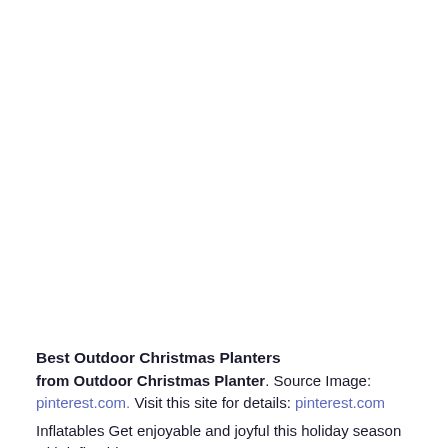[Figure (photo): Large image area (blank/white) taking up approximately the top 77% of the page — likely an outdoor Christmas planters photo that did not load.]
Best Outdoor Christmas Planters
from Outdoor Christmas Planter. Source Image: pinterest.com. Visit this site for details: pinterest.com
Inflatables Get enjoyable and joyful this holiday season with inflatable